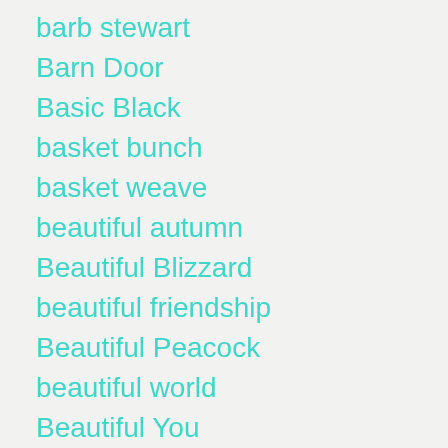barb stewart
Barn Door
Basic Black
basket bunch
basket weave
beautiful autumn
Beautiful Blizzard
beautiful friendship
Beautiful Peacock
beautiful world
Beautiful You
beauty abounds
bees